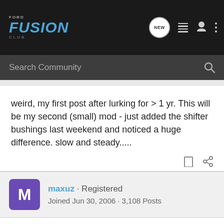[Figure (screenshot): Ford Fusion Club website header with logo and navigation icons including NEW chat bubble, list icon, user icon, and three-dot menu]
[Figure (screenshot): Search Community search bar with magnifying glass icon on dark background]
weird, my first post after lurking for > 1 yr. This will be my second (small) mod - just added the shifter bushings last weekend and noticed a huge difference. slow and steady.....
maxuz · Registered
Joined Jun 30, 2006 · 3,108 Posts
#3 · Jan 7, 2008
i want one!